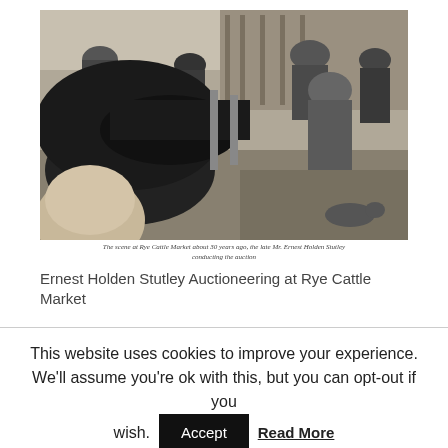[Figure (photo): Black and white historical photograph of a cattle market auction scene at Rye Cattle Market, showing multiple people in period clothing including hats, with Ernest Holden Stutley conducting the auction, taken approximately 30 years prior to publication.]
The scene at Rye Cattle Market about 30 years ago, the late Mr. Ernest Holden Stutley conducting the auction
Ernest Holden Stutley Auctioneering at Rye Cattle Market
This website uses cookies to improve your experience. We'll assume you're ok with this, but you can opt-out if you wish. Accept Read More